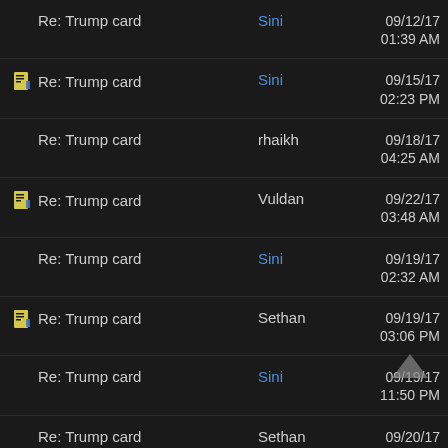Re: Trump card | Sini | 09/12/17 01:39 AM
Re: Trump card | Sini | 09/15/17 02:23 PM
Re: Trump card | rhaikh | 09/18/17 04:25 AM
Re: Trump card | Vuldan | 09/22/17 03:48 AM
Re: Trump card | Sini | 09/19/17 02:32 AM
Re: Trump card | Sethan | 09/19/17 03:06 PM
Re: Trump card | Sini | 09/19/17 11:50 PM
Re: Trump card | Sethan | 09/20/17 01:10 AM